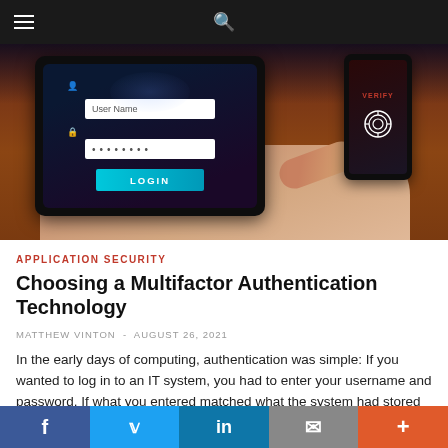Navigation bar with hamburger menu and search icon
[Figure (photo): Person in business suit pressing LOGIN button on a tablet showing a username/password login screen, with a smartphone showing VERIFY and fingerprint icon in the background, on a wooden surface.]
APPLICATION SECURITY
Choosing a Multifactor Authentication Technology
MATTHEW VINTON  -  AUGUST 26, 2021
In the early days of computing, authentication was simple: If you wanted to log in to an IT system, you had to enter your username and password. If what you entered matched what the system had stored in its directory,...
f  Twitter  in  Email  +